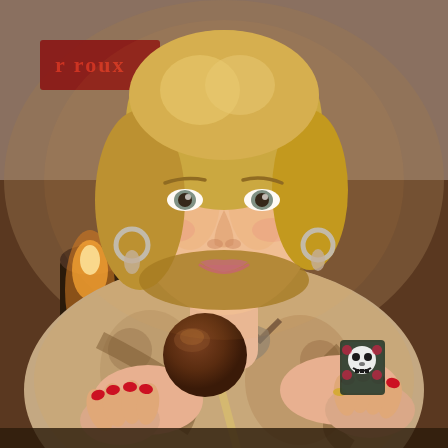[Figure (photo): A woman with shoulder-length blonde hair, wearing a patterned beige floral and animal print long-sleeve top, sitting at what appears to be a restaurant. She is holding a chocolate cake pop on a stick in her left hand and a small skull-decorated shot glass in her right hand. She has red nail polish and is smiling. Background shows candles and a sign partially reading 'roux'.]